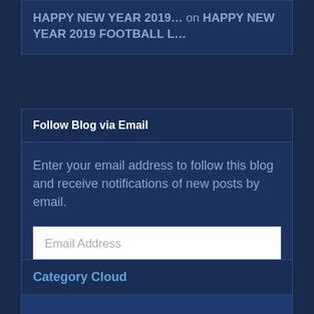HAPPY NEW YEAR 2019… on HAPPY NEW YEAR 2019 FOOTBALL L…
Follow Blog via Email
Enter your email address to follow this blog and receive notifications of new posts by email.
Email Address
Follow
Category Cloud